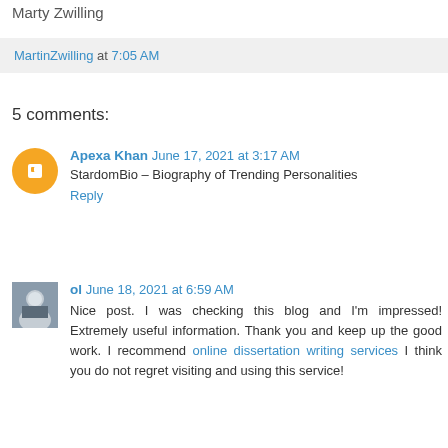Marty Zwilling
MartinZwilling at 7:05 AM
5 comments:
Apexa Khan June 17, 2021 at 3:17 AM
StardomBio – Biography of Trending Personalities
Reply
ol June 18, 2021 at 6:59 AM
Nice post. I was checking this blog and I'm impressed! Extremely useful information. Thank you and keep up the good work. I recommend online dissertation writing services I think you do not regret visiting and using this service!